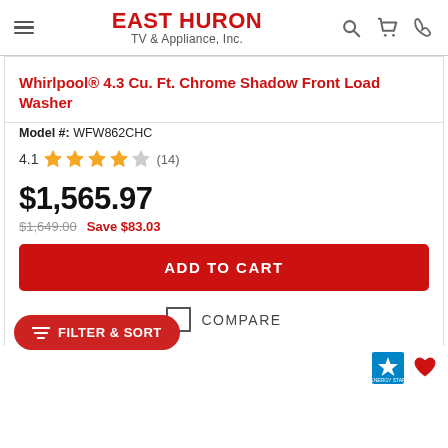East Huron TV & Appliance, Inc.
Whirlpool® 4.3 Cu. Ft. Chrome Shadow Front Load Washer
Model #: WFW862CHC
4.1 ★★★★☆ (14)
$1,565.97
$1,649.00 Save $83.03
ADD TO CART
COMPARE